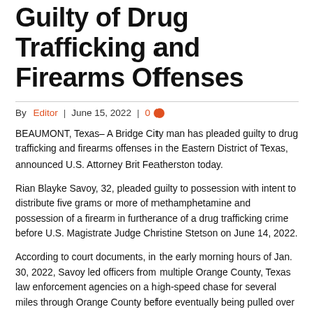Orange County Man Guilty of Drug Trafficking and Firearms Offenses
By Editor | June 15, 2022 | 0
BEAUMONT, Texas– A Bridge City man has pleaded guilty to drug trafficking and firearms offenses in the Eastern District of Texas, announced U.S. Attorney Brit Featherston today.
Rian Blayke Savoy, 32, pleaded guilty to possession with intent to distribute five grams or more of methamphetamine and possession of a firearm in furtherance of a drug trafficking crime before U.S. Magistrate Judge Christine Stetson on June 14, 2022.
According to court documents, in the early morning hours of Jan. 30, 2022, Savoy led officers from multiple Orange County, Texas law enforcement agencies on a high-speed chase for several miles through Orange County before eventually being pulled over